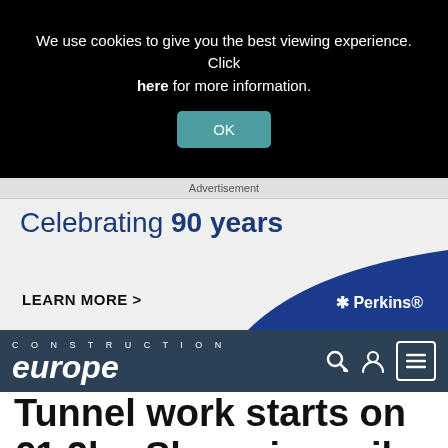We use cookies to give you the best viewing experience. Click here for more information.
OK
Advertisement
[Figure (logo): Perkins advertisement banner: Celebrating 90 years. LEARN MORE >. Perkins logo with blue curved swoosh.]
CONSTRUCTION europe
Tunnel work starts on €1.2bn Slovenian rail project